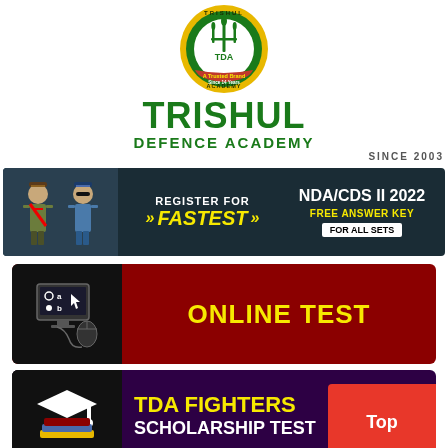[Figure (logo): TDA Trishul Defence Academy circular logo badge with green and yellow colors]
TRISHUL DEFENCE ACADEMY SINCE 2003
[Figure (infographic): Dark banner with military cadets: REGISTER FOR >> FASTEST >> NDA/CDS II 2022 FREE ANSWER KEY FOR ALL SETS]
[Figure (infographic): Dark red banner with computer icon: ONLINE TEST]
[Figure (infographic): Dark purple banner with graduation icon: TDA FIGHTERS SCHOLARSHIP TEST, with red Top button]